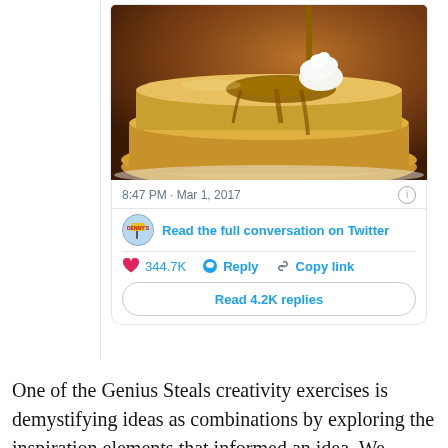[Figure (screenshot): Twitter/X card screenshot showing a photo of pancakes with syrup and whipped cream being poured from above. Below the photo: timestamp '8:47 PM · Mar 1, 2017', info icon, a Denny's avatar with 'Read the full conversation on Twitter' link, a divider, action row with heart icon '344.7K', reply icon 'Reply', link icon 'Copy link', and a 'Read 4.2K replies' button.]
One of the Genius Steals creativity exercises is demystifying ideas as combinations by exploring the inspiration elements that informed an idea. We